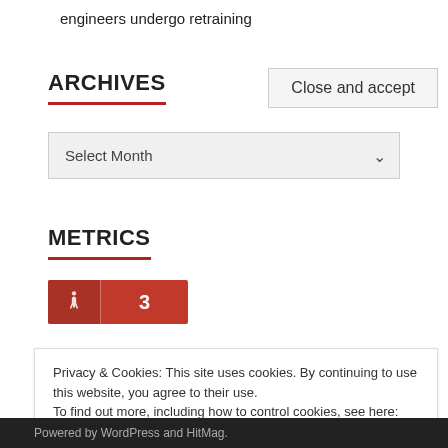engineers undergo retraining
ARCHIVES
[Figure (screenshot): A dropdown select box with label 'Select Month' and a chevron arrow, styled with light gray background]
METRICS
[Figure (infographic): A red badge/button with a walking person icon on the left and the number 3 on the right]
Privacy & Cookies: This site uses cookies. By continuing to use this website, you agree to their use.
To find out more, including how to control cookies, see here: Cookie Policy
Close and accept
Powered by WordPress and HitMag.